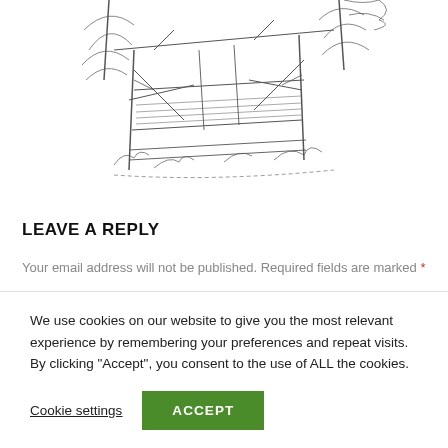[Figure (illustration): Black and white line drawing illustration of a rustic wooden structure or bridge with timber framing, surrounded by trees and vegetation, partially visible at the top of the page.]
LEAVE A REPLY
Your email address will not be published. Required fields are marked *
We use cookies on our website to give you the most relevant experience by remembering your preferences and repeat visits. By clicking "Accept", you consent to the use of ALL the cookies.
Cookie settings  ACCEPT